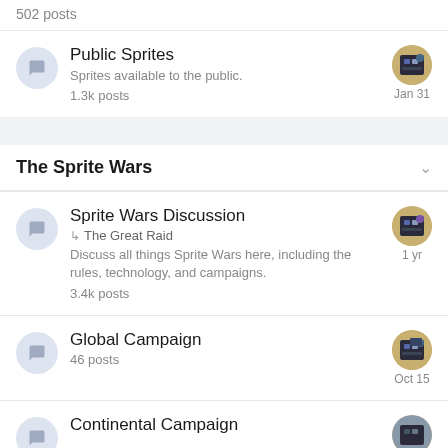502 posts
Public Sprites — Sprites available to the public. — 1.3k posts
The Sprite Wars
Sprite Wars Discussion — The Great Raid — Discuss all things Sprite Wars here, including the rules, technology, and campaigns. — 3.4k posts — 1 yr
Global Campaign — 46 posts — Oct 15
Continental Campaign (partial)